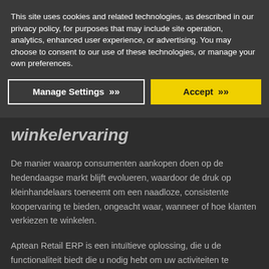This site uses cookies and related technologies, as described in our privacy policy, for purposes that may include site operation, analytics, enhanced user experience, or advertising. You may choose to consent to our use of these technologies, or manage your own preferences.
[Figure (screenshot): Two buttons: 'Manage Settings' with white border on dark background and chevron icon, and 'Accept' with yellow background and chevron icon]
winkelervaring
De manier waarop consumenten aankopen doen op de hedendaagse markt blijft evolueren, waardoor de druk op kleinhandelaars toeneemt om een naadloze, consistente koopervaring te bieden, ongeacht waar, wanneer of hoe klanten verkiezen te winkelen.
Aptean Retail ERP is een intuïtieve oplossing, die u de functionaliteit biedt die u nodig hebt om uw activiteiten te optimaliseren, waarde toe te voegen en uw bedrijfsgroei te maximaliseren voor blijvend succes.